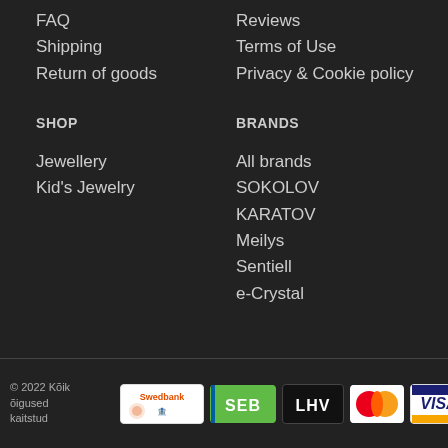FAQ
Shipping
Return of goods
Reviews
Terms of Use
Privacy & Cookie policy
SHOP
BRANDS
Jewellery
Kid's Jewelry
All brands
SOKOLOV
KARATOV
Meilys
Sentiell
e-Crystal
© 2022 Kõik õigused kaitstud